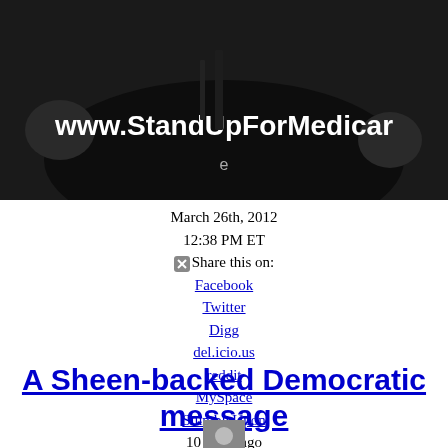[Figure (screenshot): Video screenshot showing a man in dark suit with text overlay 'www.StandUpForMedicare' on dark background]
March 26th, 2012
12:38 PM ET
Share this on:
Facebook
Twitter
Digg
del.icio.us
reddit
MySpace
StumbleUpon
10 years ago
A Sheen-backed Democratic message